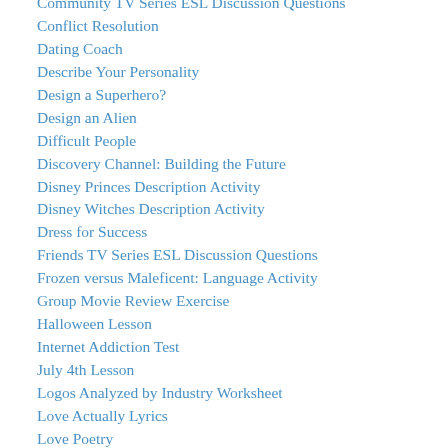Community TV Series ESL Discussion Questions
Conflict Resolution
Dating Coach
Describe Your Personality
Design a Superhero?
Design an Alien
Difficult People
Discovery Channel: Building the Future
Disney Princes Description Activity
Disney Witches Description Activity
Dress for Success
Friends TV Series ESL Discussion Questions
Frozen versus Maleficent: Language Activity
Group Movie Review Exercise
Halloween Lesson
Internet Addiction Test
July 4th Lesson
Logos Analyzed by Industry Worksheet
Love Actually Lyrics
Love Poetry